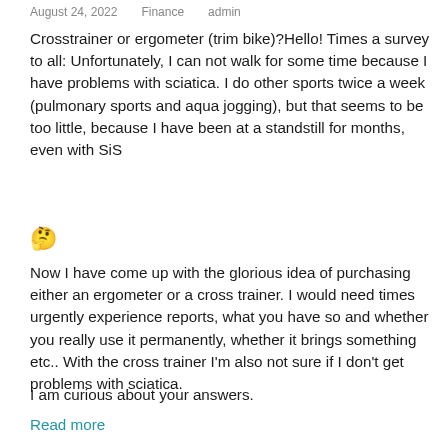August 24, 2022   Finance   admin
Crosstrainer or ergometer (trim bike)?Hello! Times a survey to all: Unfortunately, I can not walk for some time because I have problems with sciatica. I do other sports twice a week (pulmonary sports and aqua jogging), but that seems to be too little, because I have been at a standstill for months, even with SiS
🤔
Now I have come up with the glorious idea of purchasing either an ergometer or a cross trainer. I would need times urgently experience reports, what you have so and whether you really use it permanently, whether it brings something etc.. With the cross trainer I'm also not sure if I don't get problems with sciatica.
I am curious about your answers.
Read more